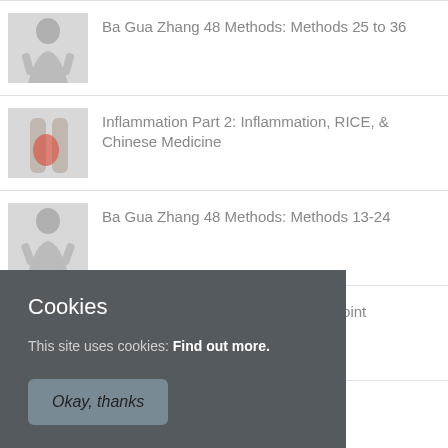Ba Gua Zhang 48 Methods: Methods 25 to 36
Inflammation Part 2: Inflammation, RICE, & Chinese Medicine
Ba Gua Zhang 48 Methods: Methods 13-24
Inflammation Part 1: Inflammation, Joint Drugs
Xing Yi Quan / Hsing I - Peng Quan
Cookies
This site uses cookies: Find out more.
Okay, thanks
SEMINARS